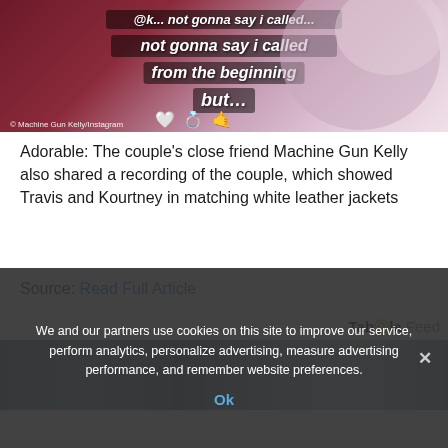[Figure (screenshot): Instagram story screenshot showing text 'not gonna say i called it from the beginning but...' with heart, ring, and finger emojis. Credit: Machine Gun Kelly/Instagram]
Adorable: The couple's close friend Machine Gun Kelly also shared a recording of the couple, which showed Travis and Kourtney in matching white leather jackets
Source: Read Full Article
Taboola Feed
[Figure (photo): Partial photo of colorful graffiti or street art, partially obscured by cookie consent banner]
We and our partners use cookies on this site to improve our service, perform analytics, personalize advertising, measure advertising performance, and remember website preferences.
Ok